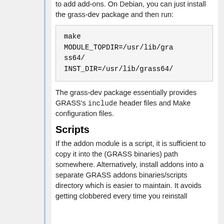to add add-ons. On Debian, you can just install the grass-dev package and then run:
make MODULE_TOPDIR=/usr/lib/grass64/ INST_DIR=/usr/lib/grass64/
The grass-dev package essentially provides GRASS's include header files and Make configuration files.
Scripts
If the addon module is a script, it is sufficient to copy it into the (GRASS binaries) path somewhere. Alternatively, install addons into a separate GRASS addons binaries/scripts directory which is easier to maintain. It avoids getting clobbered every time you reinstall